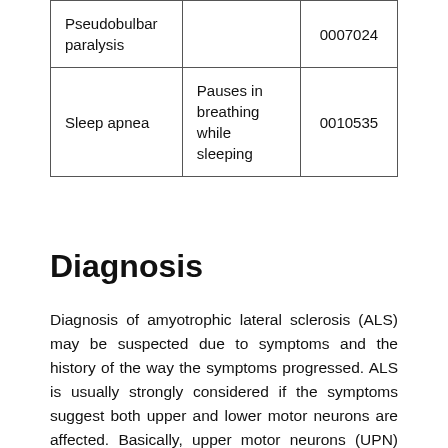| Pseudobulbar paralysis |  | 0007024 |
| Sleep apnea | Pauses in breathing while sleeping | 0010535 |
Diagnosis
Diagnosis of amyotrophic lateral sclerosis (ALS) may be suspected due to symptoms and the history of the way the symptoms progressed. ALS is usually strongly considered if the symptoms suggest both upper and lower motor neurons are affected. Basically, upper motor neurons (UPN) are found in the brain, whereas lower motor neurons are found in the spinal cord (LMN). UMN